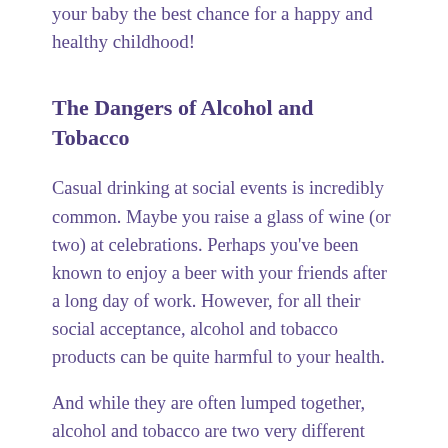your baby the best chance for a happy and healthy childhood!
The Dangers of Alcohol and Tobacco
Casual drinking at social events is incredibly common. Maybe you raise a glass of wine (or two) at celebrations. Perhaps you’ve been known to enjoy a beer with your friends after a long day of work. However, for all their social acceptance, alcohol and tobacco products can be quite harmful to your health.
And while they are often lumped together, alcohol and tobacco are two very different